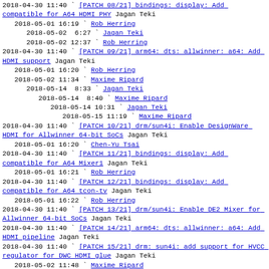2018-04-30 11:40 ` [PATCH 08/21] bindings: display: Add compatible for A64 HDMI PHY Jagan Teki
2018-05-01 16:19   ` Rob Herring
2018-05-02  6:27     ` Jagan Teki
2018-05-02 12:37     ` Rob Herring
2018-04-30 11:40 ` [PATCH 09/21] arm64: dts: allwinner: a64: Add HDMI support Jagan Teki
2018-05-01 16:20   ` Rob Herring
2018-05-02 11:34   ` Maxime Ripard
2018-05-14  8:33     ` Jagan Teki
2018-05-14  8:40       ` Maxime Ripard
2018-05-14 10:31         ` Jagan Teki
2018-05-15 11:19           ` Maxime Ripard
2018-04-30 11:40 ` [PATCH 10/21] drm/sun4i: Enable DesignWare HDMI for Allwinner 64-bit SoCs Jagan Teki
2018-05-01 16:20   ` Chen-Yu Tsai
2018-04-30 11:40 ` [PATCH 11/21] bindings: display: Add compatible for A64 Mixer1 Jagan Teki
2018-05-01 16:21   ` Rob Herring
2018-04-30 11:40 ` [PATCH 12/21] bindings: display: Add compatible for A64 tcon-tv Jagan Teki
2018-05-01 16:22   ` Rob Herring
2018-04-30 11:40 ` [PATCH 13/21] drm/sun4i: Enable DE2 Mixer for Allwinner 64-bit SoCs Jagan Teki
2018-04-30 11:40 ` [PATCH 14/21] arm64: dts: allwinner: a64: Add HDMI pipeline Jagan Teki
2018-04-30 11:40 ` [PATCH 15/21] drm: sun4i: add support for HVCC regulator for DWC HDMI glue Jagan Teki
2018-05-02 11:48   ` Maxime Ripard
2018-05-02 11:51   ` Icenowy Zheng